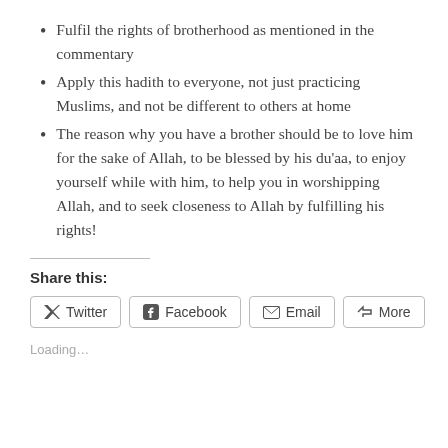Fulfil the rights of brotherhood as mentioned in the commentary
Apply this hadith to everyone, not just practicing Muslims, and not be different to others at home
The reason why you have a brother should be to love him for the sake of Allah, to be blessed by his du'aa, to enjoy yourself while with him, to help you in worshipping Allah, and to seek closeness to Allah by fulfilling his rights!
Share this:
Twitter  Facebook  Email  More
Loading…